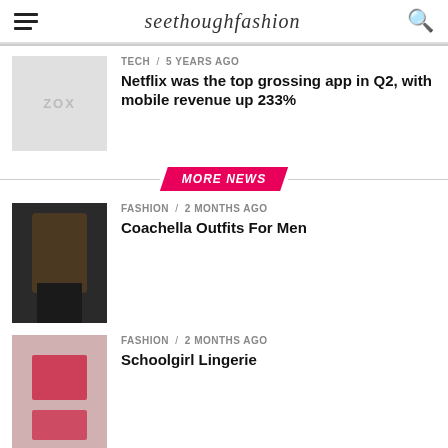seethoughfashion
[Figure (photo): Gray placeholder thumbnail with ZOX text]
TECH / 5 years ago
Netflix was the top grossing app in Q2, with mobile revenue up 233%
MORE NEWS
[Figure (photo): Fashion photo of man in chain top and leather pants]
FASHION / 2 months ago
Coachella Outfits For Men
[Figure (photo): Fashion photo of woman in red schoolgirl lingerie]
FASHION / 2 months ago
Schoolgirl Lingerie
[Figure (photo): Partial photo of woman in black body stocking]
FASHION / 2 months ago
What Are Body Stockings?